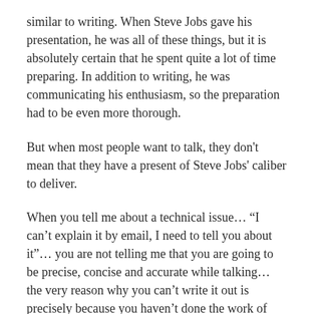similar to writing. When Steve Jobs gave his presentation, he was all of these things, but it is absolutely certain that he spent quite a lot of time preparing. In addition to writing, he was communicating his enthusiasm, so the preparation had to be even more thorough.
But when most people want to talk, they don't mean that they have a present of Steve Jobs' caliber to deliver.
When you tell me about a technical issue… “I can’t explain it by email, I need to tell you about it”… you are not telling me that you are going to be precise, concise and accurate while talking… the very reason why you can’t write it out is precisely because you haven’t done the work of preparing the information and sorting it out.